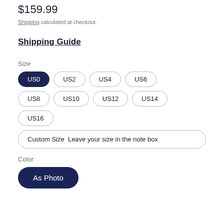$159.99
Shipping calculated at checkout.
Shipping Guide
Size
US0 (selected)
US2
US4
US6
US8
US10
US12
US14
US16
Custom Size  Leave your size in the note box
Color
As Photo